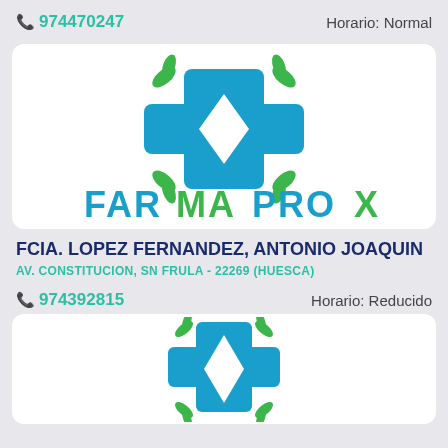974470247
Horario: Normal
[Figure (logo): Farmaprox pharmacy logo with blue cross and green leaves, with FARMAPROX text in blue and green]
FCIA. LOPEZ FERNANDEZ, ANTONIO JOAQUIN
AV. CONSTITUCION, SN FRULA - 22269 (HUESCA)
974392815
Horario: Reducido
[Figure (logo): Farmaprox pharmacy logo with blue cross and green leaves (partial, bottom card)]